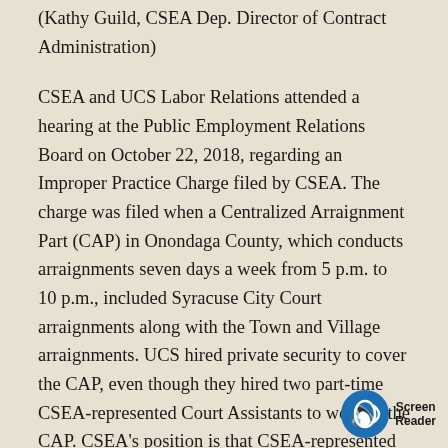(Kathy Guild, CSEA Dep. Director of Contract Administration)
CSEA and UCS Labor Relations attended a hearing at the Public Employment Relations Board on October 22, 2018, regarding an Improper Practice Charge filed by CSEA. The charge was filed when a Centralized Arraignment Part (CAP) in Onondaga County, which conducts arraignments seven days a week from 5 p.m. to 10 p.m., included Syracuse City Court arraignments along with the Town and Village arraignments. UCS hired private security to cover the CAP, even though they hired two part-time CSEA-represented Court Assistants to work in the CAP. CSEA's position is that CSEA-represented employees have exclusively handled Syarcus Court arraignments and that...